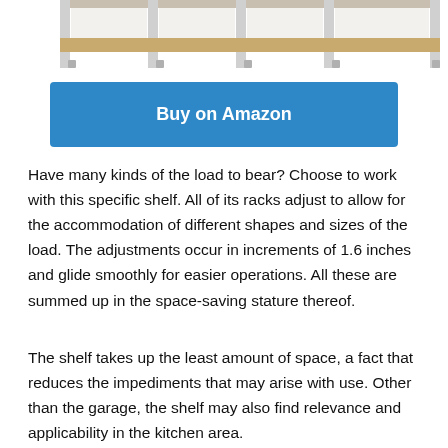[Figure (photo): Partial view of a metal and wood shelf/rack unit, showing the top portion with metal frame and wooden shelves against white background.]
Buy on Amazon
Have many kinds of the load to bear? Choose to work with this specific shelf. All of its racks adjust to allow for the accommodation of different shapes and sizes of the load. The adjustments occur in increments of 1.6 inches and glide smoothly for easier operations. All these are summed up in the space-saving stature thereof.
The shelf takes up the least amount of space, a fact that reduces the impediments that may arise with use. Other than the garage, the shelf may also find relevance and applicability in the kitchen area.